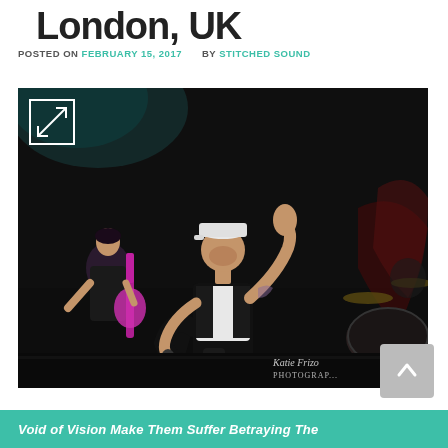London, UK
POSTED ON FEBRUARY 15, 2017 BY STITCHED SOUND
[Figure (photo): Concert photo of a vocalist performing on stage wearing a white cap, black jacket and white shirt, singing into a microphone with one hand raised. Two other band members visible in background, one playing pink guitar. Drum kit visible on right. Dark venue with teal/blue stage lighting. Katie Frize Photography watermark visible.]
Void of Vision Make Them Suffer Betraying The